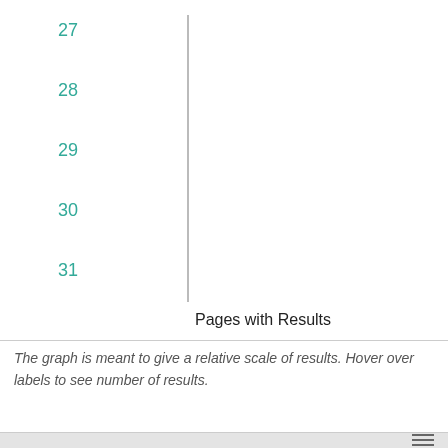[Figure (other): Partial chart showing y-axis labels 27-31 with a vertical axis line and x-axis label 'Pages with Results']
The graph is meant to give a relative scale of results. Hover over labels to see number of results.
Page 1 - 10
Sort by Earliest Date
April 08,
Back to Top